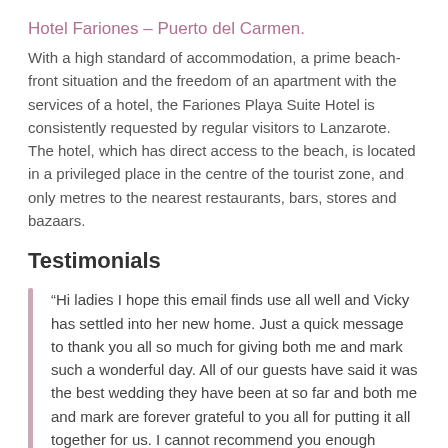Hotel Fariones – Puerto del Carmen.
With a high standard of accommodation, a prime beach-front situation and the freedom of an apartment with the services of a hotel, the Fariones Playa Suite Hotel is consistently requested by regular visitors to Lanzarote. The hotel, which has direct access to the beach, is located in a privileged place in the centre of the tourist zone, and only metres to the nearest restaurants, bars, stores and bazaars.
Testimonials
“Hi ladies I hope this email finds use all well and Vicky has settled into her new home. Just a quick message to thank you all so much for giving both me and mark such a wonderful day. All of our guests have said it was the best wedding they have been at so far and both me and mark are forever grateful to you all for putting it all together for us. I cannot recommend you enough